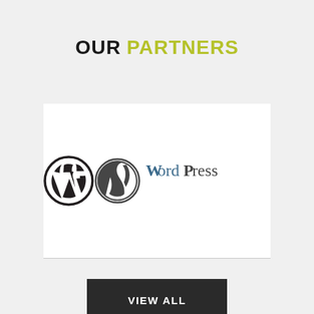OUR PARTNERS
[Figure (logo): WordPress logo with circular W icon and 'WordPress' text in dark blue/grey serif font]
VIEW ALL